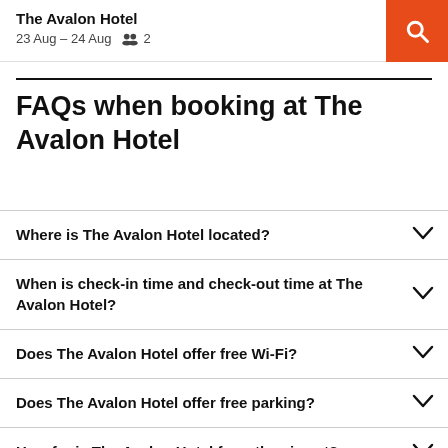The Avalon Hotel
23 Aug – 24 Aug  👥 2
FAQs when booking at The Avalon Hotel
Where is The Avalon Hotel located?
When is check-in time and check-out time at The Avalon Hotel?
Does The Avalon Hotel offer free Wi-Fi?
Does The Avalon Hotel offer free parking?
How far is The Avalon Hotel from the airport?